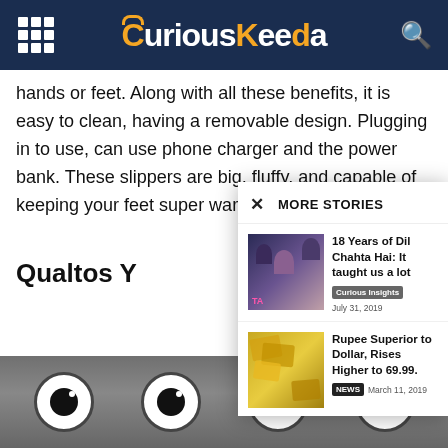CuriousKeeda
hands or feet. Along with all these benefits, it is easy to clean, having a removable design. Plugging in to use, can use phone charger and the power bank. These slippers are big, fluffy, and capable of keeping your feet super warm.
Qualtos Y
[Figure (screenshot): MORE STORIES overlay panel with two story items: '18 Years of Dil Chahta Hai: It taught us a lot' (Curious Insights, July 31, 2019) and 'Rupee Superior to Dollar, Rises Higher to 69.99.' (NEWS, March 11, 2019)]
[Figure (photo): Bottom portion showing fluffy slipper eyes - four circular eyes with white sclera, black pupils and white shine dots, on a grey furry background]